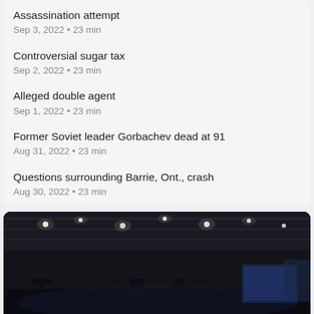Assassination attempt
Sep 3, 2022 • 23 min
Controversial sugar tax
Sep 2, 2022 • 23 min
Alleged double agent
Sep 1, 2022 • 23 min
Former Soviet leader Gorbachev dead at 91
Aug 31, 2022 • 23 min
Questions surrounding Barrie, Ont., crash
Aug 30, 2022 • 23 min
[Figure (photo): Dark interior of a broadcast/production studio with ceiling lights and screens visible in the background]